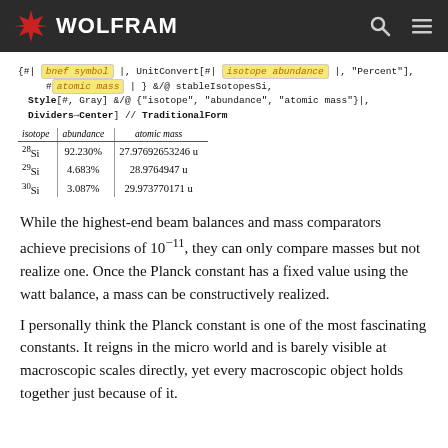WOLFRAM
| isotope | abundance | atomic mass |
| --- | --- | --- |
| ²⁸Si | 92.230% | 27.97692653246 u |
| ²⁹Si | 4.683% | 28.9764947 u |
| ³⁰Si | 3.087% | 29.973770171 u |
While the highest-end beam balances and mass comparators achieve precisions of 10⁻¹¹, they can only compare masses but not realize one. Once the Planck constant has a fixed value using the watt balance, a mass can be constructively realized.
I personally think the Planck constant is one of the most fascinating constants. It reigns in the micro world and is barely visible at macroscopic scales directly, yet every macroscopic object holds together just because of it.